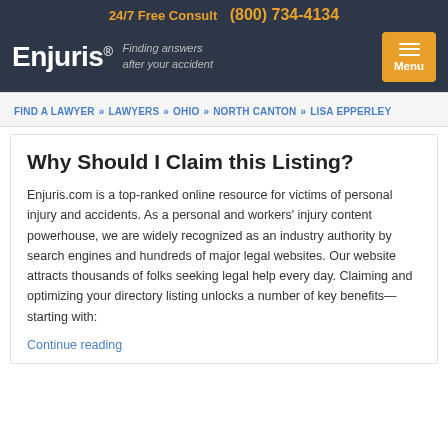24/7 Free Consult  (800) 734-4134
[Figure (logo): Enjuris logo with tagline 'Finding answers after your accident' and orange Menu button]
FIND A LAWYER » LAWYERS » OHIO » NORTH CANTON » LISA EPPERLEY
Why Should I Claim this Listing?
Enjuris.com is a top-ranked online resource for victims of personal injury and accidents. As a personal and workers' injury content powerhouse, we are widely recognized as an industry authority by search engines and hundreds of major legal websites. Our website attracts thousands of folks seeking legal help every day. Claiming and optimizing your directory listing unlocks a number of key benefits—starting with:
Continue reading